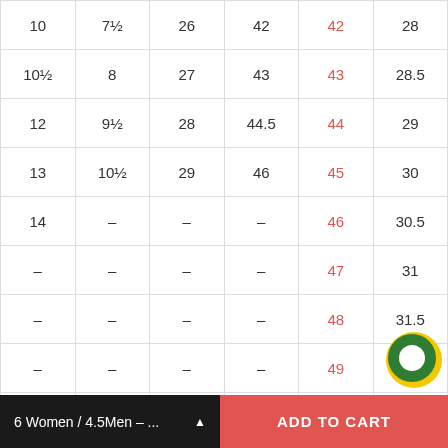| Col1 | Col2 | Col3 | Col4 | Col5 | Col6 |
| --- | --- | --- | --- | --- | --- |
| 10 | 7½ | 26 | 42 | 42 | 28 |
| 10½ | 8 | 27 | 43 | 43 | 28.5 |
| 12 | 9½ | 28 | 44.5 | 44 | 29 |
| 13 | 10½ | 29 | 46 | 45 | 30 |
| 14 | – | – | – | 46 | 30.5 |
| – | – | – | – | 47 | 31 |
| – | – | – | – | 48 | 31.5 |
| – | – | – | – | 49 | 32 |
| – | – | – | – | 50 | – |
6 Women / 4.5Men – ...
ADD TO CART